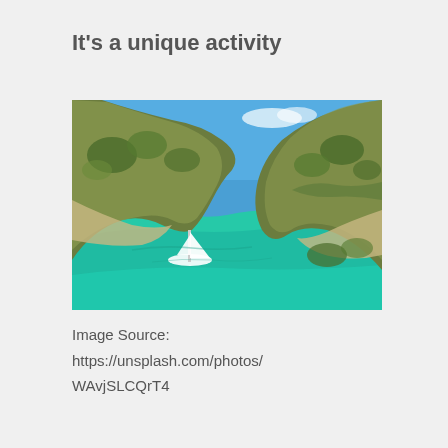It’s a unique activity
[Figure (photo): Aerial view of a sailboat anchored in a turquoise bay surrounded by rocky green hills and clear water, with open sea visible in the background under a blue sky.]
Image Source:
https://unsplash.com/photos/
WAvjSLCQrT4